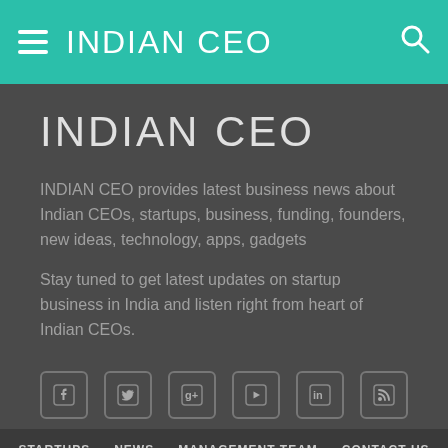INDIAN CEO
INDIAN CEO
INDIAN CEO provides latest business news about Indian CEOs, startups, business, funding, founders, new ideas, technology, apps, gadgets
Stay tuned to get latest updates on startup business in India and listen right from heart of Indian CEOs.
[Figure (infographic): Social media icons row: Facebook, Twitter, Google+, YouTube, LinkedIn, RSS]
STARTUPS   NEWS   MANAGEMENT TEAM   CONTACT US   CAREERS   DISCLAIMER